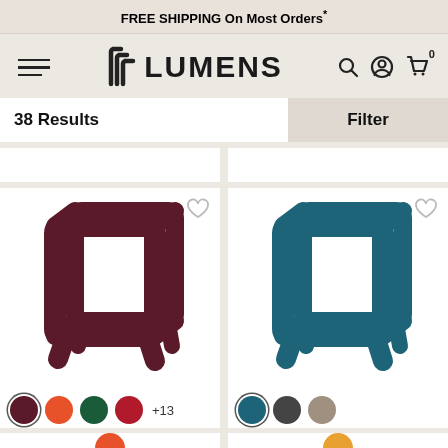FREE SHIPPING On Most Orders*
[Figure (logo): Lumens logo with stylized L bracket and bold LUMENS text]
38 Results
Filter
[Figure (photo): Dark burgundy/maroon geometric cube-frame side table on white background]
[Figure (photo): Teal/dark cyan geometric cube-frame side table on white background]